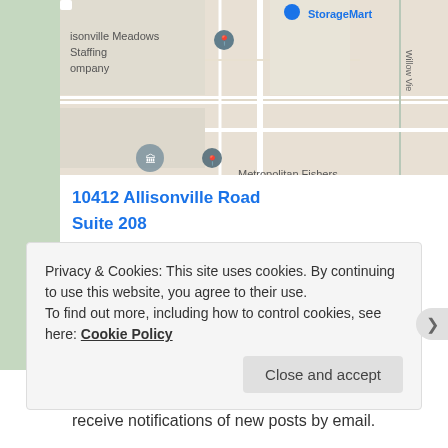[Figure (map): Google Maps screenshot showing Allisonville Meadows Staffing Company and StoreMart near Metropolitan Fishers area with Willow View road]
10412 Allisonville Road
Suite 208
Fishers, IN 46038
317-577-7872
Monday - Friday: 9am-5pm
Evenings & Weekends by Appointment
FOLLOW BLOG VIA EMAIL
Enter your email address to follow this blog and receive notifications of new posts by email.
Privacy & Cookies: This site uses cookies. By continuing to use this website, you agree to their use.
To find out more, including how to control cookies, see here: Cookie Policy